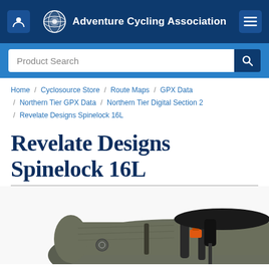Adventure Cycling Association
Product Search
Home / Cyclosource Store / Route Maps / GPX Data / Northern Tier GPX Data / Northern Tier Digital Section 2 / Revelate Designs Spinelock 16L
Revelate Designs Spinelock 16L
[Figure (photo): Photograph of a dark olive/grey Revelate Designs Spinelock 16L bikepacking seat bag mounted under a bicycle saddle, with orange buckle hardware visible.]